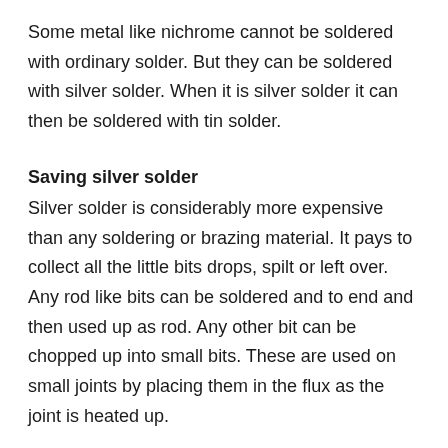Some metal like nichrome cannot be soldered with ordinary solder. But they can be soldered with silver solder. When it is silver solder it can then be soldered with tin solder.
Saving silver solder
Silver solder is considerably more expensive than any soldering or brazing material. It pays to collect all the little bits drops, spilt or left over. Any rod like bits can be soldered and to end and then used up as rod. Any other bit can be chopped up into small bits. These are used on small joints by placing them in the flux as the joint is heated up.
Silver solders and cadmium